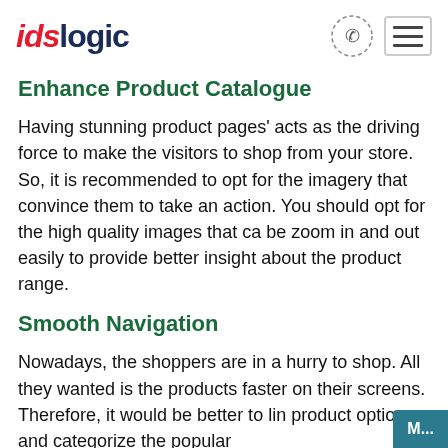idslogic
Enhance Product Catalogue
Having stunning product pages' acts as the driving force to make the visitors to shop from your store. So, it is recommended to opt for the imagery that convince them to take an action. You should opt for the high quality images that ca be zoom in and out easily to provide better insight about the product range.
Smooth Navigation
Nowadays, the shoppers are in a hurry to shop. All they wanted is the products faster on their screens. Therefore, it would be better to lin product options, and categorize the popular